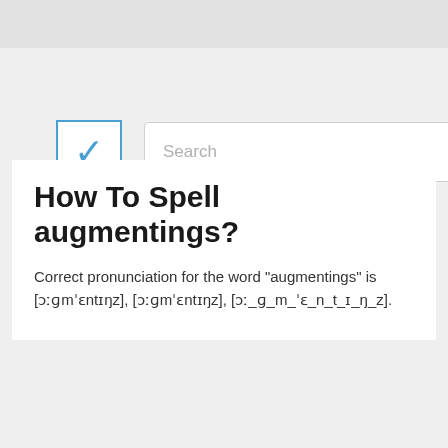[Figure (screenshot): Checkbox icon with blue checkmark and blue border, next to a search input field with placeholder text 'Search']
How To Spell augmentings?
Correct pronunciation for the word "augmentings" is [ɔːɡmˈɛntɪŋz], [ɔːɡmˈɛntɪŋz], [ɔː_ɡ_m_ˈɛ_n_t_ɪ_ŋ_z].